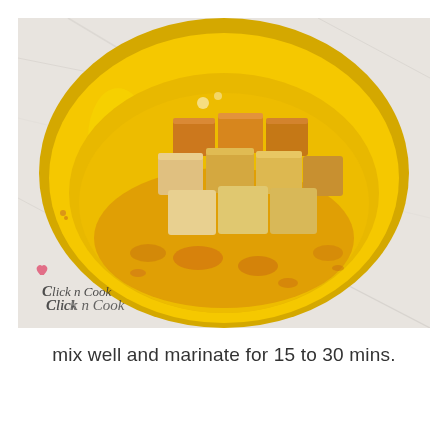[Figure (photo): A bright yellow bowl on a marble surface containing cubed paneer/tofu pieces coated in an orange-yellow spiced marinade (likely turmeric and other spices). The bowl is round and ceramic, shot from slightly above. A watermark in the lower-left corner reads 'Click n Cook'.]
mix well and marinate for 15 to 30 mins.